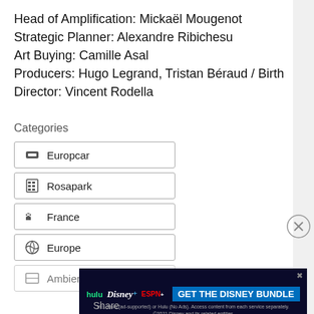Head of Amplification: Mickaël Mougenot
Strategic Planner: Alexandre Ribichesu
Art Buying: Camille Asal
Producers: Hugo Legrand, Tristan Béraud / Birth
Director: Vincent Rodella
Categories
Europcar
Rosapark
France
Europe
Ambient
[Figure (screenshot): Advertisement banner: GET THE DISNEY BUNDLE - featuring Hulu, Disney+, ESPN+ logos]
Share